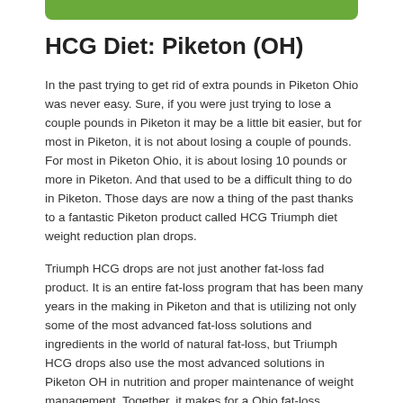[Figure (other): Green decorative bar at top of page]
HCG Diet: Piketon (OH)
In the past trying to get rid of extra pounds in Piketon Ohio was never easy. Sure, if you were just trying to lose a couple pounds in Piketon it may be a little bit easier, but for most in Piketon, it is not about losing a couple of pounds. For most in Piketon Ohio, it is about losing 10 pounds or more in Piketon. And that used to be a difficult thing to do in Piketon. Those days are now a thing of the past thanks to a fantastic Piketon product called HCG Triumph diet weight reduction plan drops.
Triumph HCG drops are not just another fat-loss fad product. It is an entire fat-loss program that has been many years in the making in Piketon and that is utilizing not only some of the most advanced fat-loss solutions and ingredients in the world of natural fat-loss, but Triumph HCG drops also use the most advanced solutions in Piketon OH in nutrition and proper maintenance of weight management. Together, it makes for a Ohio fat-loss program that is very effective and that is also incredibly quick in Piketon. With the Triumph HCG Drops, you will reduce fat more quickly and efficiently than